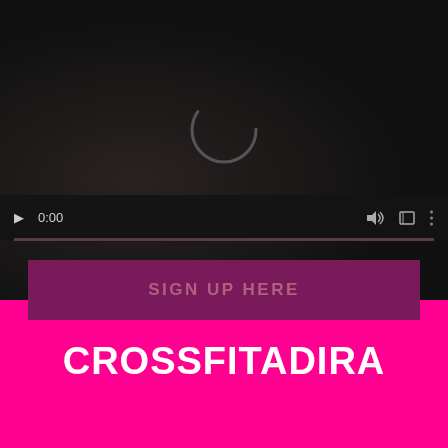[Figure (screenshot): Dark-themed video player interface showing a loading spinner (C-shaped arc), playback controls (play button, 0:00 timestamp, volume icon, fullscreen icon, menu dots), a progress bar, and a dark magenta 'SIGN UP HERE' button below the player.]
SIGN UP HERE
[Figure (logo): CrossFit Adira logo — white bold uppercase text 'CROSSFITADIRA' on a hot pink (#ff0090) background.]